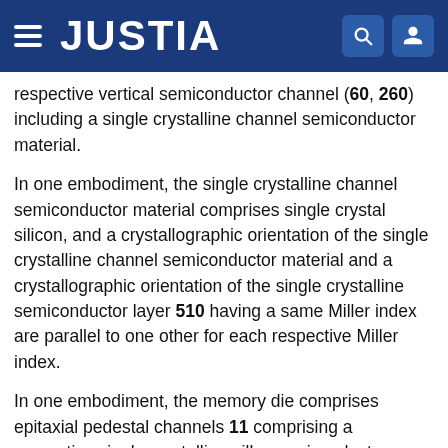JUSTIA
respective vertical semiconductor channel (60, 260) including a single crystalline channel semiconductor material.
In one embodiment, the single crystalline channel semiconductor material comprises single crystal silicon, and a crystallographic orientation of the single crystalline channel semiconductor material and a crystallographic orientation of the single crystalline semiconductor layer 510 having a same Miller index are parallel to one other for each respective Miller index.
In one embodiment, the memory die comprises epitaxial pedestal channels 11 comprising a respective single crystalline pillar semiconductor material in epitaxial alignment with the single crystalline semiconductor layer and with the single crystalline channel semiconductor material for each respective ...